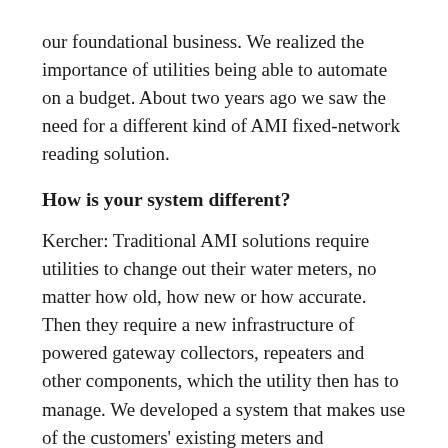our foundational business. We realized the importance of utilities being able to automate on a budget. About two years ago we saw the need for a different kind of AMI fixed-network reading solution.
How is your system different?
Kercher: Traditional AMI solutions require utilities to change out their water meters, no matter how old, how new or how accurate. Then they require a new infrastructure of powered gateway collectors, repeaters and other components, which the utility then has to manage. We developed a system that makes use of the customers' existing meters and communicates over an existing public network, so the utility doesn't have to install anything above ground.
How does this technology account for all the different meter makes and models?